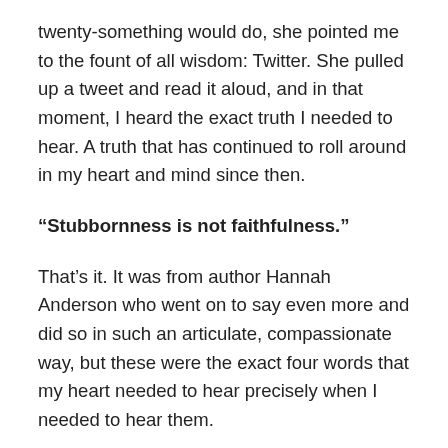twenty-something would do, she pointed me to the fount of all wisdom: Twitter. She pulled up a tweet and read it aloud, and in that moment, I heard the exact truth I needed to hear. A truth that has continued to roll around in my heart and mind since then.
“Stubbornness is not faithfulness.”
That’s it. It was from author Hannah Anderson who went on to say even more and did so in such an articulate, compassionate way, but these were the exact four words that my heart needed to hear precisely when I needed to hear them.
Because I have been through some stuff over the years. I have seen some things and experienced some hard and, yeah I know, who hasn’t? But whether it’s my life